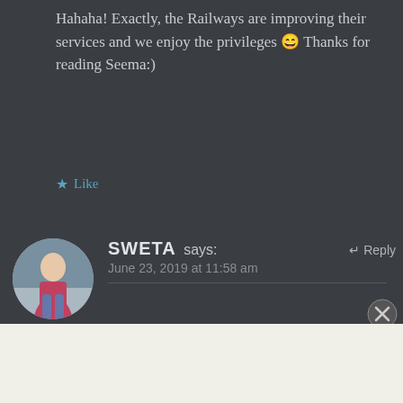Hahaha! Exactly, the Railways are improving their services and we enjoy the privileges 😄 Thanks for reading Seema:)
★ Like
SWETA says:  June 23, 2019 at 11:58 am  ↰ Reply
Lovely description. Can easily relate myself to it. I had similar feelings when I travelled
Advertisements
Professionally designed sites in less than a week